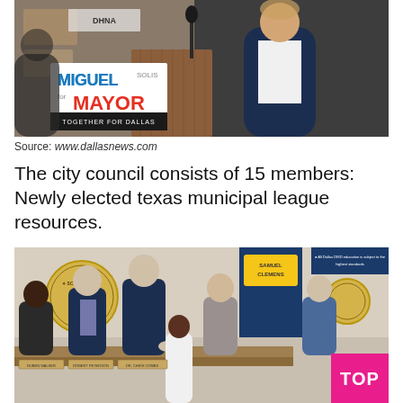[Figure (photo): A man in a suit standing at a wooden podium with a 'Miguel Solis for Mayor - Together for Dallas' campaign sign in front. The background shows a classroom-like setting with a chalkboard.]
Source: www.dallasnews.com
The city council consists of 15 members: Newly elected texas municipal league resources.
[Figure (photo): A group of people at a city council meeting setting. Several men in suits stand at a curved council desk with nameplates. A Schertz TX seal is visible on the wall. A 'Samuel Clemens' banner is visible. A pink 'TOP' button overlay appears in the bottom right corner.]